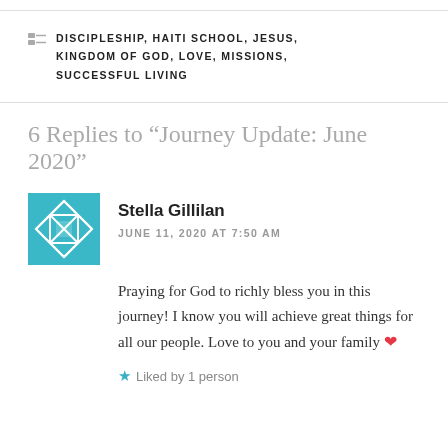DISCIPLESHIP, HAITI SCHOOL, JESUS, KINGDOM OF GOD, LOVE, MISSIONS, SUCCESSFUL LIVING
6 Replies to “Journey Update: June 2020”
[Figure (illustration): Teal and white geometric pattern avatar for commenter Stella Gillilan]
Stella Gillilan
JUNE 11, 2020 AT 7:50 AM
Praying for God to richly bless you in this journey! I know you will achieve great things for all our people. Love to you and your family ❤
Liked by 1 person